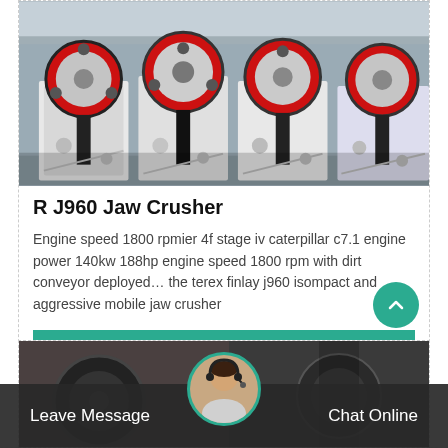[Figure (photo): Multiple red and white jaw crusher machines lined up in an industrial factory setting]
R J960 Jaw Crusher
Engine speed 1800 rpmier 4f stage iv caterpillar c7.1 engine power 140kw 188hp engine speed 1800 rpm with dirt conveyor deployed… the terex finlay j960 isompact and aggressive mobile jaw crusher
GET PRICE
[Figure (photo): Partial view of industrial machinery at bottom of page]
Leave Message
Chat Online